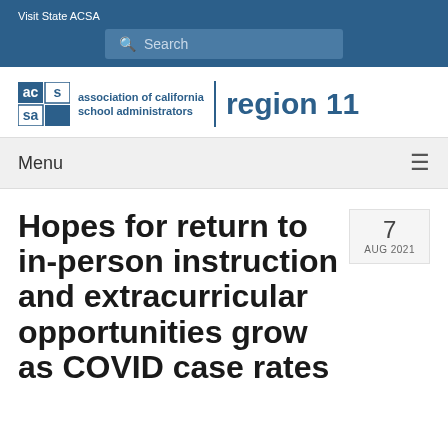Visit State ACSA
Search
[Figure (logo): ACSA association of california school administrators | region 11 logo]
Menu
Hopes for return to in-person instruction and extracurricular opportunities grow as COVID case rates
7 AUG 2021